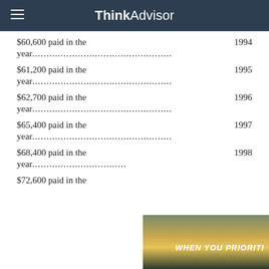ThinkAdvisor
$60,600 paid in the year................................................... 1994
$61,200 paid in the year................................................... 1995
$62,700 paid in the year................................................... 1996
$65,400 paid in the year................................................... 1997
$68,400 paid in the year................................................... 1998
$72,600 paid in the year
[Figure (photo): Advertisement overlay showing a person at water's edge at sunset with text 'WHEN YOU PRIORITI']